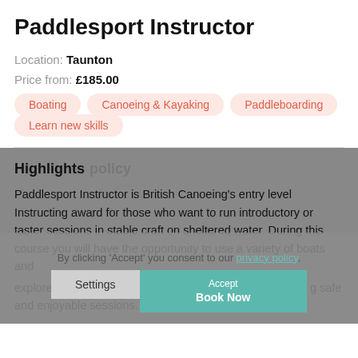Paddlesport Instructor
Location: Taunton
Price from: £185.00
Boating
Canoeing & Kayaking
Paddleboarding
Learn new skills
Highlights
policy
Paddlesport Instructor is British Canoeing's entry level Instructing award for those who want to run introductory or taster sessions in stable craft on sheltered water. During this course you will have the opportunity to use a variety of boats and explore the use of games and activities to inspire, keeping safe and enjoyable sessions.
By clicking 'Accept' you consent to our privacy policy.
Settings
Accept
Book Now